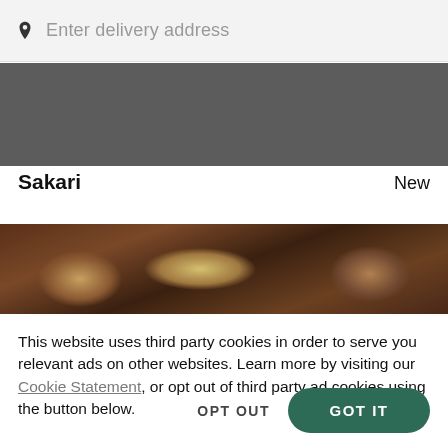Enter delivery address
[Figure (photo): Dark gray restaurant hero banner image]
Sakari   New
[Figure (photo): Food photo strip showing dishes on a dark wooden table]
This website uses third party cookies in order to serve you relevant ads on other websites. Learn more by visiting our Cookie Statement, or opt out of third party ad cookies using the button below.
OPT OUT   GOT IT